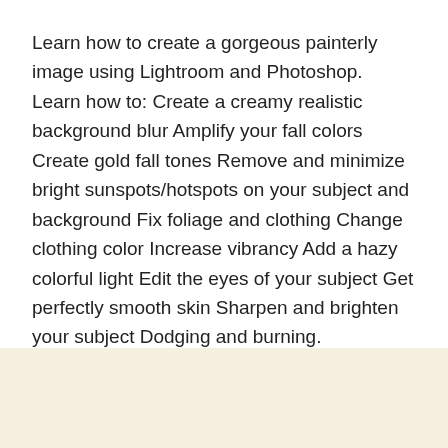Learn how to create a gorgeous painterly image using Lightroom and Photoshop. Learn how to: Create a creamy realistic background blur Amplify your fall colors Create gold fall tones Remove and minimize bright sunspots/hotspots on your subject and background Fix foliage and clothing Change clothing color Increase vibrancy Add a hazy colorful light Edit the eyes of your subject Get perfectly smooth skin Sharpen and brighten your subject Dodging and burning.
Download More Photography
Content Source:
https://members.summerana.com/membership